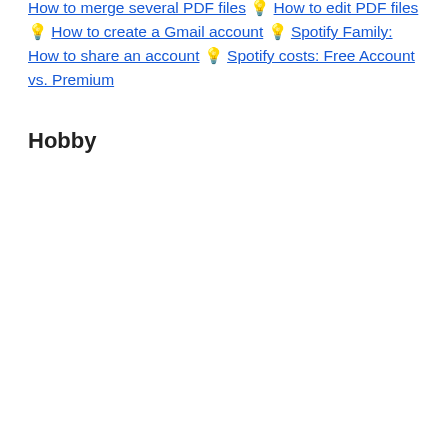How to merge several PDF files 💡 How to edit PDF files 💡 How to create a Gmail account 💡 Spotify Family: How to share an account 💡 Spotify costs: Free Account vs. Premium
Hobby